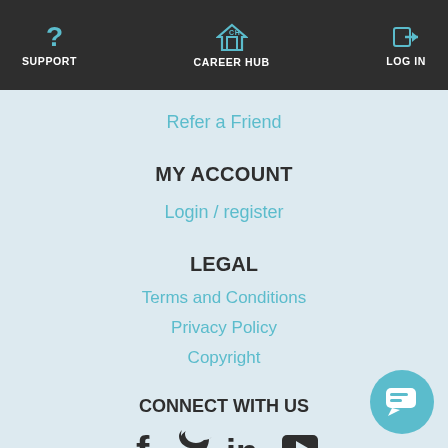SUPPORT  CAREER HUB  LOG IN
Refer a Friend
MY ACCOUNT
Login / register
LEGAL
Terms and Conditions
Privacy Policy
Copyright
CONNECT WITH US
[Figure (infographic): Social media icons: Facebook, Twitter, LinkedIn, YouTube]